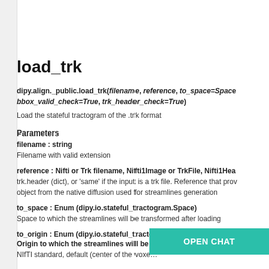load_trk
dipy.align._public.load_trk(filename, reference, to_space=Space, bbox_valid_check=True, trk_header_check=True)
Load the stateful tractogram of the .trk format
Parameters
filename :  string
Filename with valid extension
reference :  Nifti or Trk filename, Nifti1Image or TrkFile, Nifti1Hea
trk.header (dict), or 'same' if the input is a trk file. Reference that prov object from the native diffusion used for streamlines generation
to_space :  Enum (dipy.io.stateful_tractogram.Space)
Space to which the streamlines will be transformed after loading
to_origin :  Enum (dipy.io.stateful_tractogram.Origin)
Origin to which the streamlines will be t
NIfTI standard, default (center of the voxe